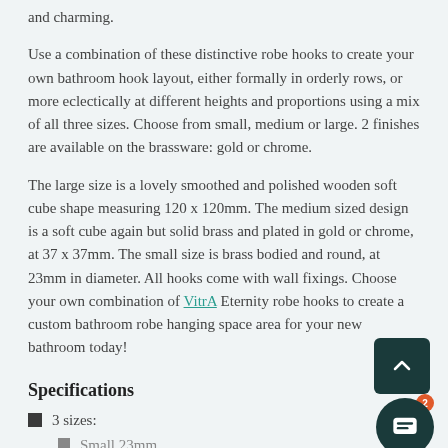and charming.
Use a combination of these distinctive robe hooks to create your own bathroom hook layout, either formally in orderly rows, or more eclectically at different heights and proportions using a mix of all three sizes. Choose from small, medium or large. 2 finishes are available on the brassware: gold or chrome.
The large size is a lovely smoothed and polished wooden soft cube shape measuring 120 x 120mm. The medium sized design is a soft cube again but solid brass and plated in gold or chrome, at 37 x 37mm. The small size is brass bodied and round, at 23mm in diameter. All hooks come with wall fixings. Choose your own combination of VitrA Eternity robe hooks to create a custom bathroom robe hanging space area for your new bathroom today!
Specifications
3 sizes:
Small 23mm
Medium 37mm
Large 120mm